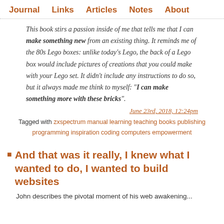Journal  Links  Articles  Notes  About
This book stirs a passion inside of me that tells me that I can make something new from an existing thing. It reminds me of the 80s Lego boxes: unlike today's Lego, the back of a Lego box would include pictures of creations that you could make with your Lego set. It didn't include any instructions to do so, but it always made me think to myself: "I can make something more with these bricks".
June 23rd, 2018, 12:24pm
Tagged with zxspectrum manual learning teaching books publishing programming inspiration coding computers empowerment
And that was it really, I knew what I wanted to do, I wanted to build websites
John describes the pivotal moment of his web awakening...